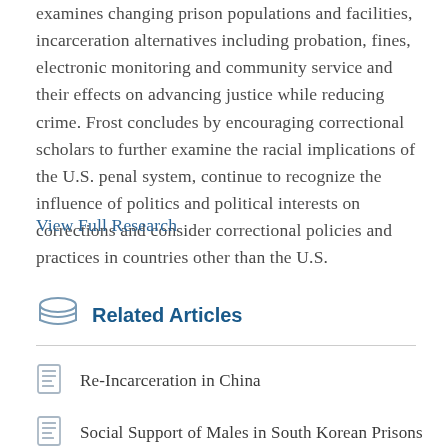examines changing prison populations and facilities, incarceration alternatives including probation, fines, electronic monitoring and community service and their effects on advancing justice while reducing crime. Frost concludes by encouraging correctional scholars to further examine the racial implications of the U.S. penal system, continue to recognize the influence of politics and political interests on corrections and consider correctional policies and practices in countries other than the U.S.
View Full Research
Related Articles
Re-Incarceration in China
Social Support of Males in South Korean Prisons